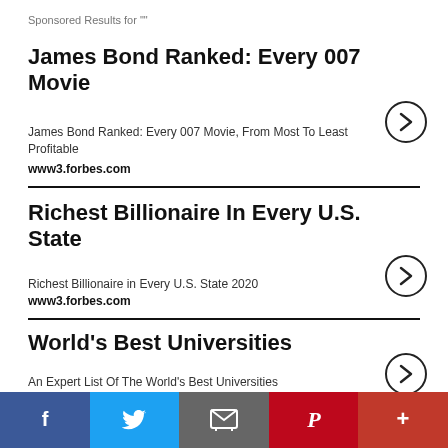Sponsored Results for ""
James Bond Ranked: Every 007 Movie
James Bond Ranked: Every 007 Movie, From Most To Least Profitable
www3.forbes.com
Richest Billionaire In Every U.S. State
Richest Billionaire in Every U.S. State 2020
www3.forbes.com
World's Best Universities
An Expert List Of The World's Best Universities
www3.forbes.com